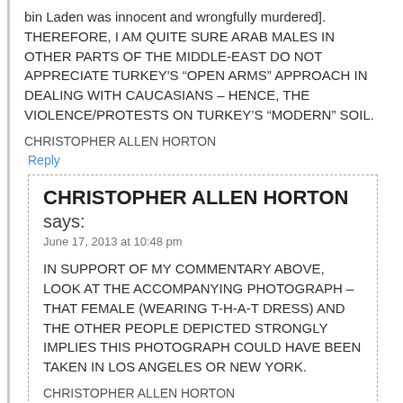bin Laden was innocent and wrongfully murdered]. THEREFORE, I AM QUITE SURE ARAB MALES IN OTHER PARTS OF THE MIDDLE-EAST DO NOT APPRECIATE TURKEY'S “OPEN ARMS” APPROACH IN DEALING WITH CAUCASIANS – HENCE, THE VIOLENCE/PROTESTS ON TURKEY'S “MODERN” SOIL.
CHRISTOPHER ALLEN HORTON
Reply
CHRISTOPHER ALLEN HORTON says:
June 17, 2013 at 10:48 pm
IN SUPPORT OF MY COMMENTARY ABOVE, LOOK AT THE ACCOMPANYING PHOTOGRAPH – THAT FEMALE (WEARING T-H-A-T DRESS) AND THE OTHER PEOPLE DEPICTED STRONGLY IMPLIES THIS PHOTOGRAPH COULD HAVE BEEN TAKEN IN LOS ANGELES OR NEW YORK.
CHRISTOPHER ALLEN HORTON